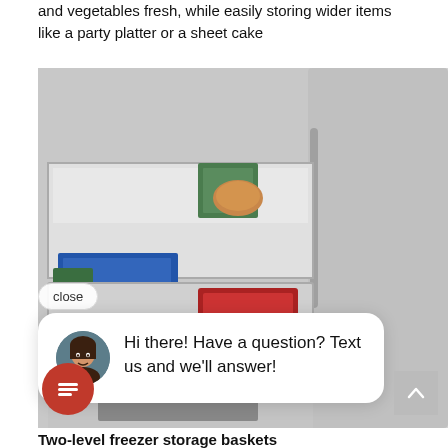and vegetables fresh, while easily storing wider items like a party platter or a sheet cake
[Figure (photo): Open French-door refrigerator freezer drawer showing two-level storage baskets with various frozen food items]
[Figure (screenshot): Chat widget overlay with close button and chat bubble saying 'Hi there! Have a question? Text us and we'll answer!' with a female avatar photo, and a red chat icon button at bottom left, and a scroll-to-top arrow button at bottom right]
Two-level freezer storage baskets